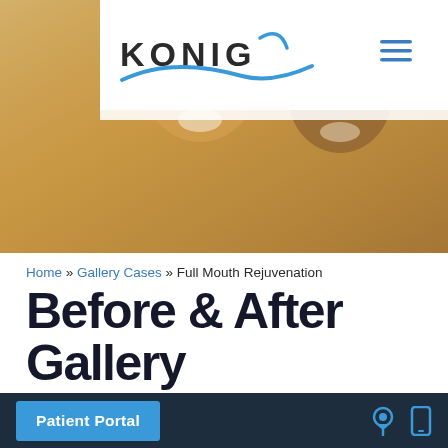KONIG
[Figure (photo): Hero banner photo of a smiling couple outdoors, woman wearing a hat, warm golden tones]
Home » Gallery Cases » Full Mouth Rejuvenation
Before & After Gallery
Full Mouth Rejuvenation
Individual results may vary.
[Figure (photo): Before and after gallery preview thumbnails strip at bottom of page]
Patient Portal